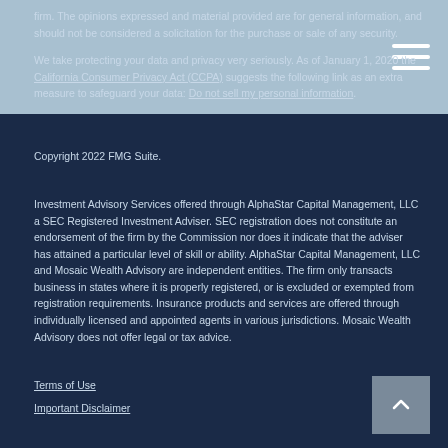firm. The opinions expressed and material provided are for general information, and should not be considered a solicitation for the purchase or sale of any security.
We take protecting your data and privacy very seriously. As of January 1, 2020 the California Consumer Privacy Act (CCPA) suggests the following link as an extra measure to safeguard your data: Do not sell my personal information.
Copyright 2022 FMG Suite.
Investment Advisory Services offered through AlphaStar Capital Management, LLC a SEC Registered Investment Adviser. SEC registration does not constitute an endorsement of the firm by the Commission nor does it indicate that the adviser has attained a particular level of skill or ability. AlphaStar Capital Management, LLC and Mosaic Wealth Advisory are independent entities. The firm only transacts business in states where it is properly registered, or is excluded or exempted from registration requirements. Insurance products and services are offered through individually licensed and appointed agents in various jurisdictions.  Mosaic Wealth Advisory does not offer legal or tax advice.
Terms of Use
Important Disclaimer